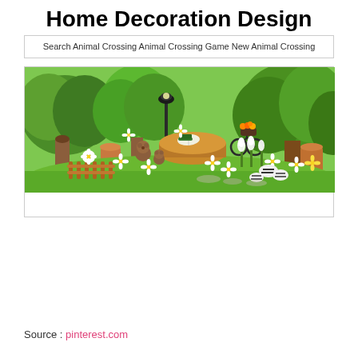Home Decoration Design
Search Animal Crossing Animal Crossing Game New Animal Crossing
[Figure (screenshot): Animal Crossing New Horizons game screenshot showing a decorated outdoor garden area with a large tree stump table, white daisy flowers, teddy bears, a bicycle with flower basket, wooden fence, topiary bushes, and a street lamp on a green grassy field.]
Source : pinterest.com